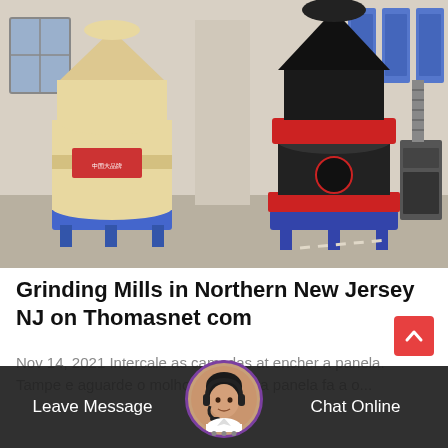[Figure (photo): Two large industrial grinding mills/pulverizers in a warehouse/factory setting. Left machine is cream/beige colored, right machine is black with red accents. Industrial building with windows and electrical panels visible in background.]
Grinding Mills in Northern New Jersey NJ on Thomasnet com
Nov 14, 2021 Intercale as camadas at encher a panela. Tampe e aguarde o molho; - Em outra panela fa a o...
[Figure (photo): Bottom bar showing a chat interface with Leave Message and Chat Online buttons, with a customer service avatar in the center.]